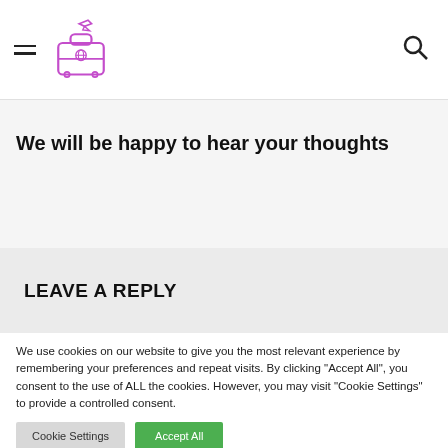[Navigation header with hamburger menu, travel logo, and search icon]
We will be happy to hear your thoughts
LEAVE A REPLY
We use cookies on our website to give you the most relevant experience by remembering your preferences and repeat visits. By clicking "Accept All", you consent to the use of ALL the cookies. However, you may visit "Cookie Settings" to provide a controlled consent.